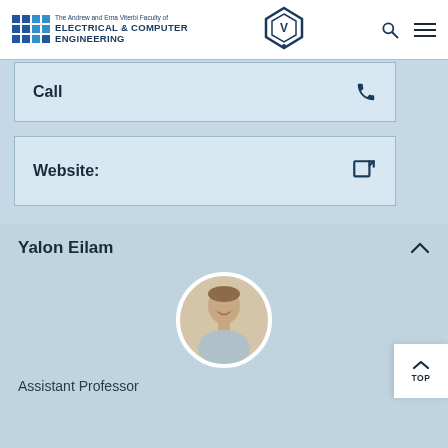[Figure (logo): The Andrew and Erna Viterbi Faculty of Electrical & Computer Engineering logo with grid of colored squares and Technion emblem]
Call
Website:
Yalon Eilam
[Figure (photo): Circular profile photo of a young man smiling, short hair]
Assistant Professor